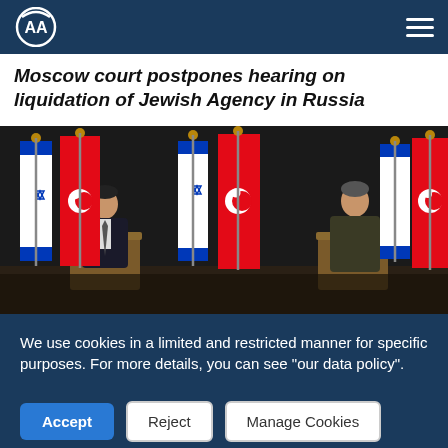AA (Anadolu Agency) logo and navigation
Moscow court postpones hearing on liquidation of Jewish Agency in Russia
[Figure (photo): Two men standing at separate podiums during a press conference, with alternating Israeli and Turkish flags in the background against a dark backdrop.]
We use cookies in a limited and restricted manner for specific purposes. For more details, you can see "our data policy".
Accept | Reject | Manage Cookies